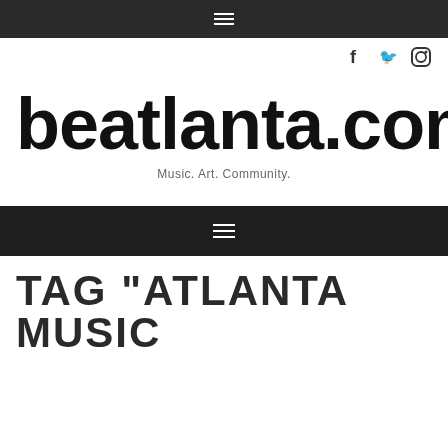≡ (hamburger menu, top navigation bar)
[Figure (logo): Social media icons: Facebook, Twitter, Instagram]
beatlanta.com
Music. Art. Community.
≡ (hamburger menu, main navigation bar)
TAG "ATLANTA MUSIC